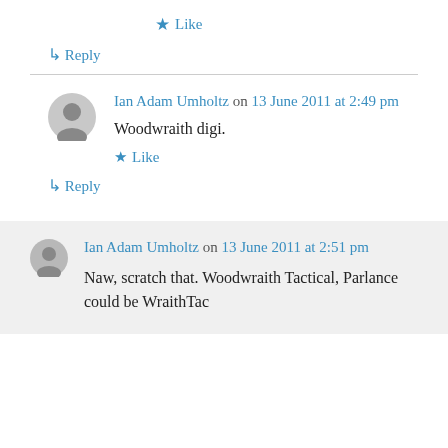★ Like
↳ Reply
Ian Adam Umholtz on 13 June 2011 at 2:49 pm
Woodwraith digi.
★ Like
↳ Reply
Ian Adam Umholtz on 13 June 2011 at 2:51 pm
Naw, scratch that. Woodwraith Tactical, Parlance could be WraithTac